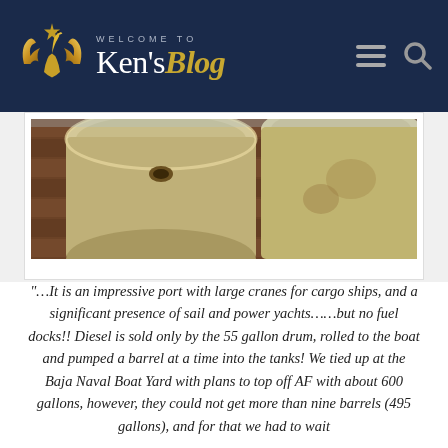WELCOME TO Ken'sBlog
[Figure (photo): Photo of 55-gallon drums on a wooden dock surface, viewed from above, showing the tops of the drums with aged/weathered appearance]
“…It is an impressive port with large cranes for cargo ships, and a significant presence of sail and power yachts……but no fuel docks!! Diesel is sold only by the 55 gallon drum, rolled to the boat and pumped a barrel at a time into the tanks! We tied up at the Baja Naval Boat Yard with plans to top off AF with about 600 gallons, however, they could not get more than nine barrels (495 gallons), and for that we had to wait